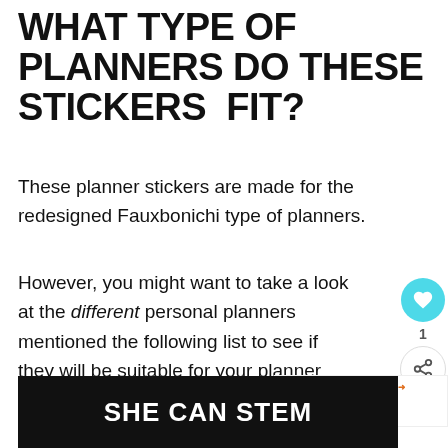WHAT TYPE OF PLANNERS DO THESE STICKERS FIT?
These planner stickers are made for the redesigned Fauxbonichi type of planners.
However, you might want to take a look at the different personal planners mentioned the following list to see if they will be suitable for your planner.
Different planner binder companies give
[Figure (other): SHE CAN STEM advertisement banner, dark background with bold white text]
[Figure (other): Social widget with heart button (cyan/teal), count of 1, and share button]